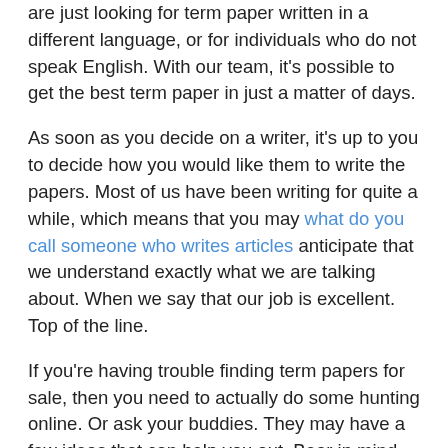are just looking for term paper written in a different language, or for individuals who do not speak English. With our team, it's possible to get the best term paper in just a matter of days.
As soon as you decide on a writer, it's up to you to decide how you would like them to write the papers. Most of us have been writing for quite a while, which means that you may what do you call someone who writes articles anticipate that we understand exactly what we are talking about. When we say that our job is excellent. Top of the line.
If you're having trouble finding term papers for sale, then you need to actually do some hunting online. Or ask your buddies. They may have a few ideas that can help you out. Bear in mind, the most significant thing is that you just get a quality writing firm, and that means that you may be confident the project gets done nicely.
When you discover a term paper for sale that you want, you'll be requested to provide them a phone. Just as an example, when you've got an article to write, you may choose to provide them a call and see what they have to say. After you get a concise